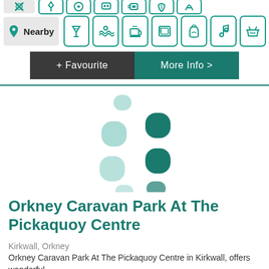[Figure (screenshot): Partial top row with a grey icon box and teal-bordered icon boxes for amenity categories]
[Figure (screenshot): Nearby row with grey label box showing location pin icon and 'Nearby' text, followed by 7 teal-bordered icon boxes with drink, wave, coffee, laundry, battery/bottle, music note, and basket icons]
[Figure (screenshot): Two buttons: dark grey '+ Favourite' button and teal 'More Info >' button]
[Figure (screenshot): Loading spinner animation (circular dots in teal/light-teal)]
Orkney Caravan Park At The Pickaquoy Centre
Kirkwall, Orkney
Orkney Caravan Park At The Pickaquoy Centre in Kirkwall, offers wonderful